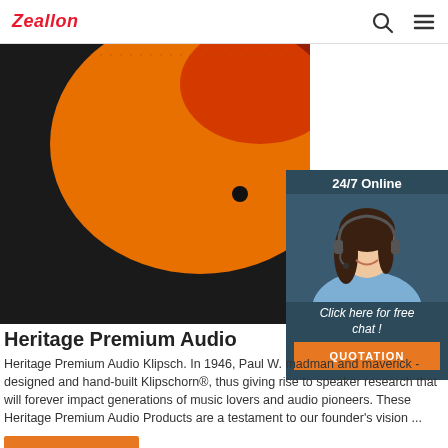Zeallon
[Figure (photo): Close-up photo of an orange and black speaker (Klipsch Heritage Premium Audio product) showing the mesh grille in orange/red color with black casing]
[Figure (infographic): 24/7 Online chat widget with a customer service agent (woman with headset smiling), 'Click here for free chat!' text and an orange QUOTATION button]
Heritage Premium Audio
Heritage Premium Audio Klipsch. In 1946, Paul W. madman and maverick - designed and hand-built Klipschorn®, thus giving rise to speaker research that will forever impact generations of music lovers and audio pioneers. These Heritage Premium Audio Products are a testament to our founder's vision ...
Get Price